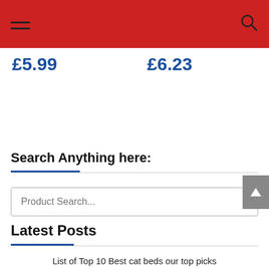Navigation bar with hamburger menu and search icon
£5.99
£6.23
Search Anything here:
Product Search...
Latest Posts
List of Top 10 Best cat beds our top picks